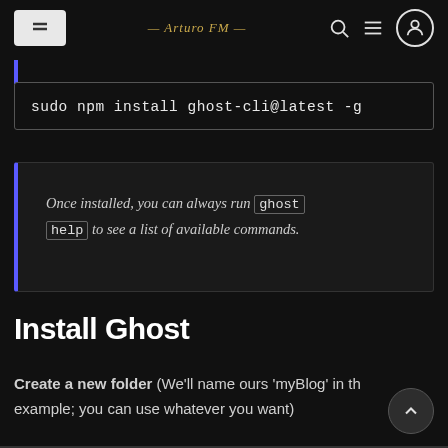Arturo FM
sudo npm install ghost-cli@latest -g
Once installed, you can always run ghost help to see a list of available commands.
Install Ghost
Create a new folder (We'll name ours 'myBlog' in the example; you can use whatever you want)